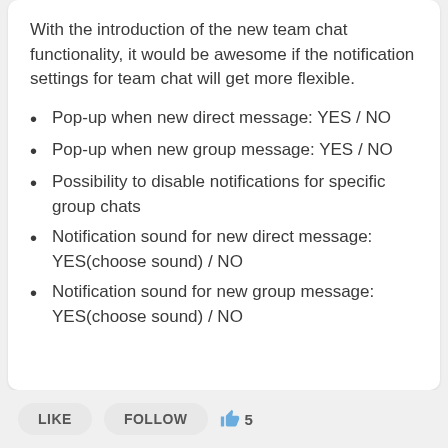With the introduction of the new team chat functionality, it would be awesome if the notification settings for team chat will get more flexible.
Pop-up when new direct message: YES / NO
Pop-up when new group message: YES / NO
Possibility to disable notifications for specific group chats
Notification sound for new direct message: YES(choose sound) / NO
Notification sound for new group message: YES(choose sound) / NO
LIKE   FOLLOW   👍 5